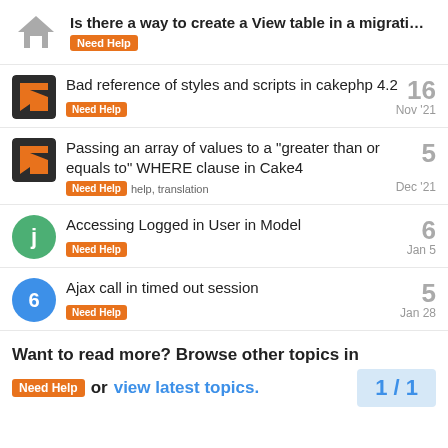Is there a way to create a View table in a migrati... | Need Help
Bad reference of styles and scripts in cakephp 4.2 | Need Help | Nov '21 | 16
Passing an array of values to a "greater than or equals to" WHERE clause in Cake4 | Need Help | help, translation | Dec '21 | 5
Accessing Logged in User in Model | Need Help | Jan 5 | 6
Ajax call in timed out session | Need Help | Jan 28 | 5
Want to read more? Browse other topics in Need Help or view latest topics. 1 / 1